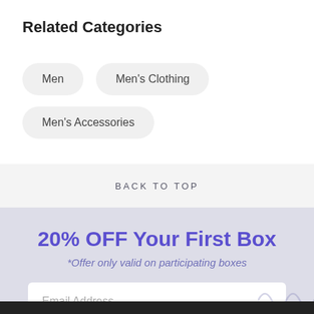Related Categories
Men
Men's Clothing
Men's Accessories
BACK TO TOP
20% OFF Your First Box
*Offer only valid on participating boxes
Email Address